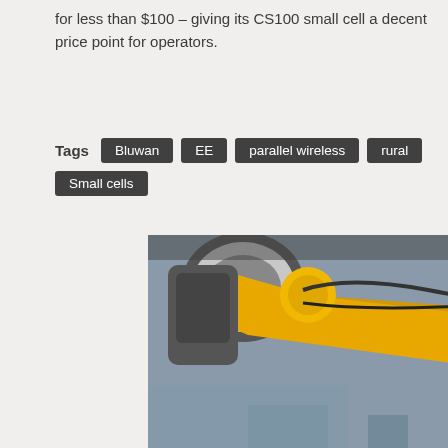for less than $100 – giving its CS100 small cell a decent price point for operators.
Tags: Bluwan, EE, parallel wireless, rural, Small cells
[Figure (photo): Advertisement banner: photo of a man in a dark red shirt examining a large yellow industrial robotic arm in a factory/lab setting. Below the photo is a dark blue panel with text: 'On-demand webinar' in cyan and 'HOW NETWORK TESTING ENSURES' in bold white uppercase.]